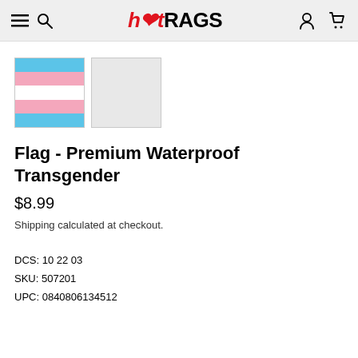hotRAGS
[Figure (photo): Two product thumbnails: first shows a transgender pride flag (blue, pink, white stripes), second is a blank light gray placeholder]
Flag - Premium Waterproof Transgender
$8.99
Shipping calculated at checkout.
DCS: 10 22 03
SKU: 507201
UPC: 0840806134512